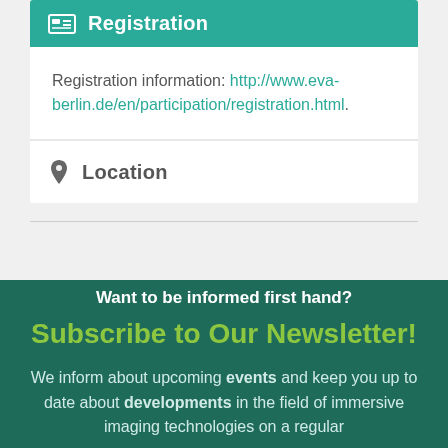Registration
Registration information: http://www.eva-berlin.de/en/participation/registration.html.
Location
Want to be informed first hand?
Subscribe to Our Newsletter!
We inform about upcoming events and keep you up to date about developments in the field of immersive imaging technologies on a regular